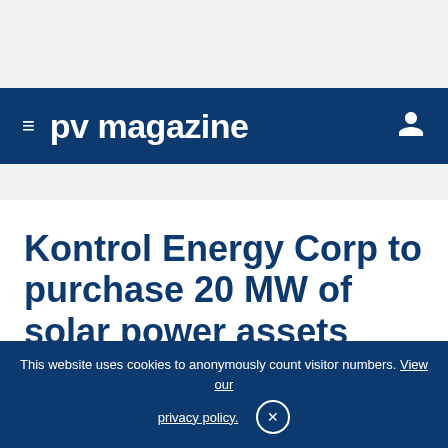pv magazine
Kontrol Energy Corp to purchase 20 MW of solar power assets
The Canadian provider of energy efficiency and technology solutions has signed a letter of intent to
This website uses cookies to anonymously count visitor numbers. View our privacy policy.